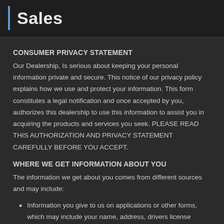Sales
CONSUMER PRIVACY STATEMENT
Our Dealership, Is serious about keeping your personal information private and secure. This notice of our privacy policy explains how we use and protect your information. This form constitutes a legal notification and once accepted by you, authorizes this dealership to use this information to assist you in acquiring the products and services you seek. PLEASE READ THIS AUTHORIZATION AND PRIVACY STATEMENT CAREFULLY BEFORE YOU ACCEPT.
WHERE WE GET INFORMATION ABOUT YOU
The information we get about you comes from different sources and may include:
Information you give to us on applications or other forms, which may include your name, address, drivers license number, employment history, income, telephone numbers, e-mail addresses and Social